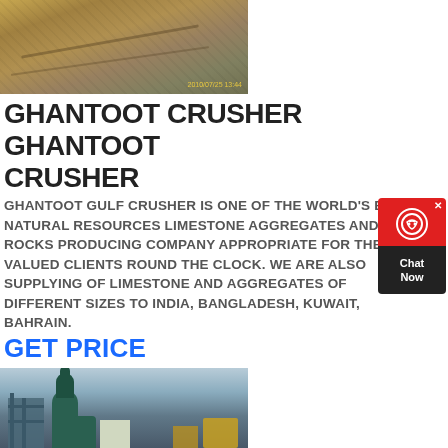[Figure (photo): Aerial or ground-level photo of a crusher/quarry site with gravel and earthworks, date stamp visible]
GHANTOOT CRUSHER GHANTOOT CRUSHER
GHANTOOT GULF CRUSHER IS ONE OF THE WORLD'S BEST NATURAL RESOURCES LIMESTONE AGGREGATES AND ROCKS PRODUCING COMPANY APPROPRIATE FOR THE VALUED CLIENTS ROUND THE CLOCK. WE ARE ALSO SUPPLYING OF LIMESTONE AND AGGREGATES OF DIFFERENT SIZES TO INDIA, BANGLADESH, KUWAIT, BAHRAIN.
GET PRICE
[Figure (photo): Industrial crusher/mill machinery with cyclone separator and industrial structures against sky background]